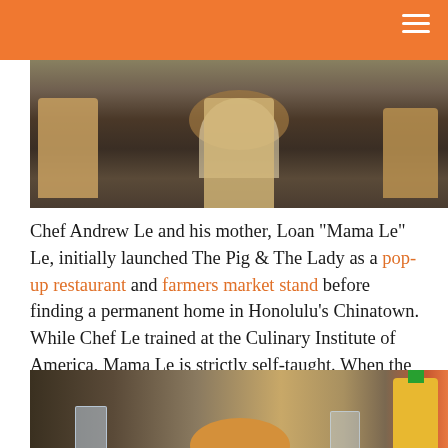[Figure (photo): Interior of The Pig & The Lady restaurant showing wooden chairs and tables with diners seated]
Chef Andrew Le and his mother, Loan “Mama Le” Le, initially launched The Pig & The Lady as a pop-up restaurant and farmers market stand before finding a permanent home in Honolulu’s Chinatown. While Chef Le trained at the Culinary Institute of America, Mama Le is strictly self-taught. When the two collaborate in the kitchen, pure deliciousness happens.
[Figure (photo): Inside The Pig & The Lady restaurant showing patrons, glasses of water and beer, a ceramic pig-shaped dish, and a Sriracha bottle on the table]